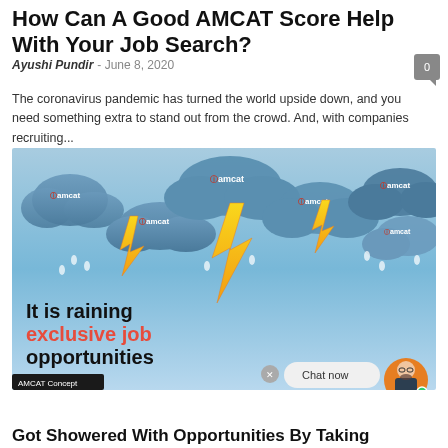How Can A Good AMCAT Score Help With Your Job Search?
Ayushi Pundir - June 8, 2020
The coronavirus pandemic has turned the world upside down, and you need something extra to stand out from the crowd. And, with companies recruiting...
[Figure (illustration): Promotional AMCAT image showing dark blue clouds with AMCAT logos, yellow lightning bolts, and rain drops on a light blue background. Text reads 'It is raining exclusive job opportunities'. Bottom left caption: 'AMCAT Concept'. Bottom right shows a chat bubble with 'Chat now' and an avatar.]
Got Showered With Opportunities By Taking